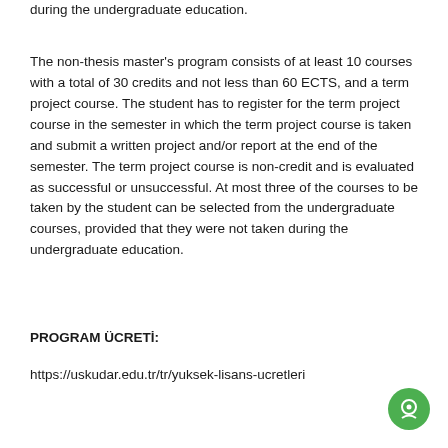during the undergraduate education.
The non-thesis master's program consists of at least 10 courses with a total of 30 credits and not less than 60 ECTS, and a term project course. The student has to register for the term project course in the semester in which the term project course is taken and submit a written project and/or report at the end of the semester. The term project course is non-credit and is evaluated as successful or unsuccessful. At most three of the courses to be taken by the student can be selected from the undergraduate courses, provided that they were not taken during the undergraduate education.
PROGRAM ÜCRETİ:
https://uskudar.edu.tr/tr/yuksek-lisans-ucretleri